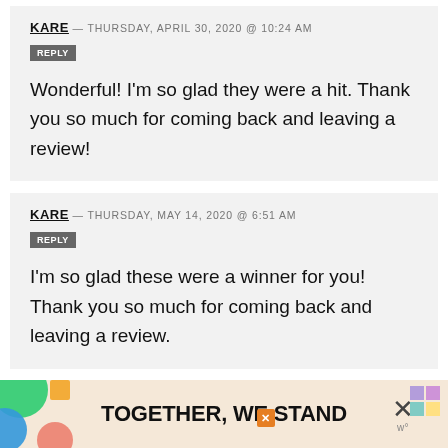KARE — THURSDAY, APRIL 30, 2020 @ 10:24 AM
REPLY
Wonderful! I'm so glad they were a hit. Thank you so much for coming back and leaving a review!
KARE — THURSDAY, MAY 14, 2020 @ 6:51 AM
REPLY
I'm so glad these were a winner for you! Thank you so much for coming back and leaving a review.
[Figure (infographic): Advertisement banner with colorful decorative shapes on the left, bold text 'TOGETHER, WE STAND', a close button with X, and a W logo on the right.]